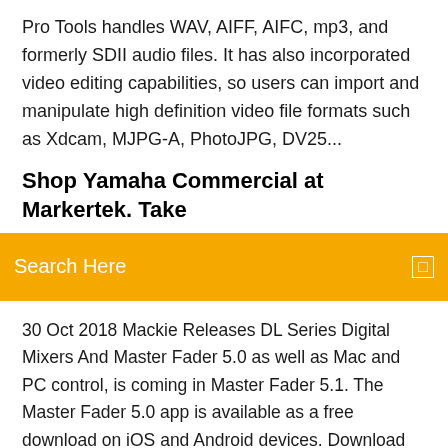Pro Tools handles WAV, AIFF, AIFC, mp3, and formerly SDII audio files. It has also incorporated video editing capabilities, so users can import and manipulate high definition video file formats such as Xdcam, MJPG-A, PhotoJPG, DV25...
Shop Yamaha Commercial at Markertek. Take
[Figure (other): Orange search bar with 'Search Here' text in white on the left and a small white square icon on the right]
30 Oct 2018 Mackie Releases DL Series Digital Mixers And Master Fader 5.0 as well as Mac and PC control, is coming in Master Fader 5.1. The Master Fader 5.0 app is available as a free download on iOS and Android devices. Download Mackie Master Fader 5 apk 5.0.2 for Android. Control Application for DL Series Mixers. 21 Jun 2018 with an ambitious upgrade path for its Master Fader tablet, Mac and PC control software. The Master Fader 5.0 app will be available as a free download on Mackie already confirmed that Master Fader 5.1 will introduce